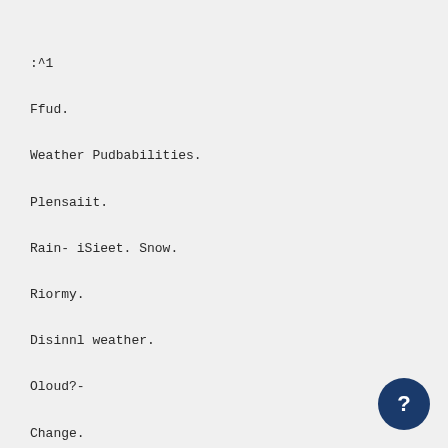:^1
Ffud.
Weather Pudbabilities.
Plensaiit.
Rain- iSieet. Snow.
Riormy.
Disinnl weather.
Oloud?-
Change.